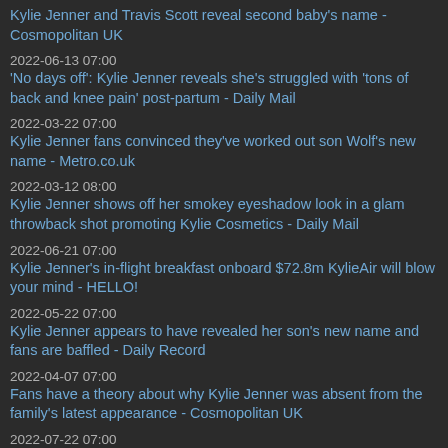Kylie Jenner and Travis Scott reveal second baby's name - Cosmopolitan UK
2022-06-13 07:00
'No days off': Kylie Jenner reveals she's struggled with 'tons of back and knee pain' post-partum - Daily Mail
2022-03-22 07:00
Kylie Jenner fans convinced they've worked out son Wolf's new name - Metro.co.uk
2022-03-12 08:00
Kylie Jenner shows off her smokey eyeshadow look in a glam throwback shot promoting Kylie Cosmetics - Daily Mail
2022-06-21 07:00
Kylie Jenner's in-flight breakfast onboard $72.8m KylieAir will blow your mind - HELLO!
2022-05-22 07:00
Kylie Jenner appears to have revealed her son's new name and fans are baffled - Daily Record
2022-04-07 07:00
Fans have a theory about why Kylie Jenner was absent from the family's latest appearance - Cosmopolitan UK
2022-07-22 07:00